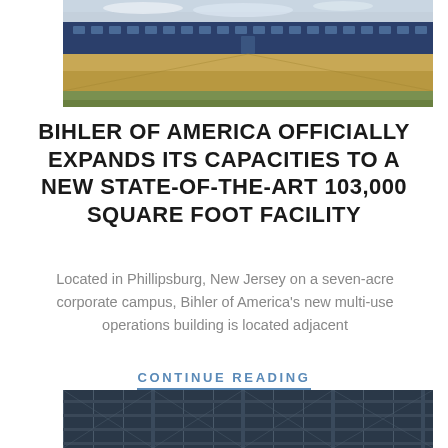[Figure (photo): Panoramic photo of a large industrial building with dark blue facade under construction, surrounded by a brown/golden field with green grass in foreground and cloudy sky above.]
BIHLER OF AMERICA OFFICIALLY EXPANDS ITS CAPACITIES TO A NEW STATE-OF-THE-ART 103,000 SQUARE FOOT FACILITY
Located in Phillipsburg, New Jersey on a seven-acre corporate campus, Bihler of America's new multi-use operations building is located adjacent
CONTINUE READING
[Figure (photo): Partial photo of an industrial warehouse interior showing tall metal storage racks/shelving units.]